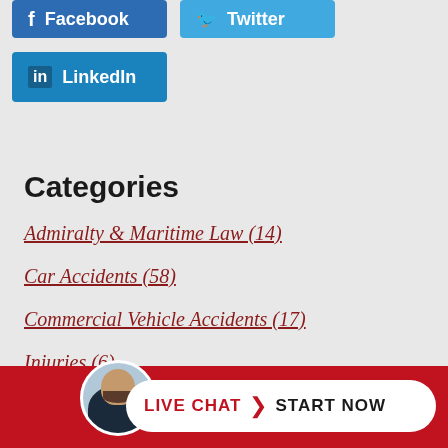[Figure (screenshot): Facebook social share button (blue)]
[Figure (screenshot): Twitter social share button (light blue)]
[Figure (screenshot): LinkedIn social share button (blue)]
Categories
Admiralty & Maritime Law (14)
Car Accidents (58)
Commercial Vehicle Accidents (17)
Injuries (6)
Insurance Claims (2)
Medical [malpractice] (...)
[Figure (photo): Live chat button with attorney avatar and START NOW text on red bar at bottom]